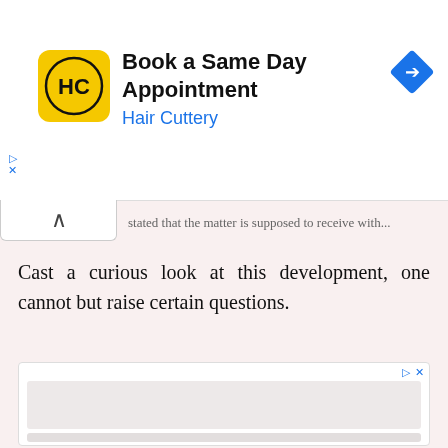[Figure (screenshot): Hair Cuttery advertisement banner with yellow logo showing HC letters, title 'Book a Same Day Appointment', subtitle 'Hair Cuttery' in blue, and a blue navigation diamond icon on the right]
stated that the matter is supposed to receive with...
Cast a curious look at this development, one cannot but raise certain questions.
[Figure (screenshot): Second advertisement banner for 'Graduate Online in 16 Months' from Washington State University 100% Online, showing loading/shimmer content area and small avatar image]